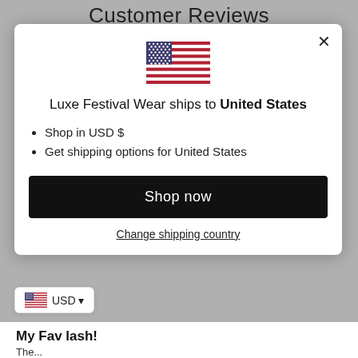Customer Reviews
[Figure (illustration): US flag emoji/icon centered in modal]
Luxe Festival Wear ships to United States
Shop in USD $
Get shipping options for United States
Shop now
Change shipping country
USD
My Fav lash!
The...